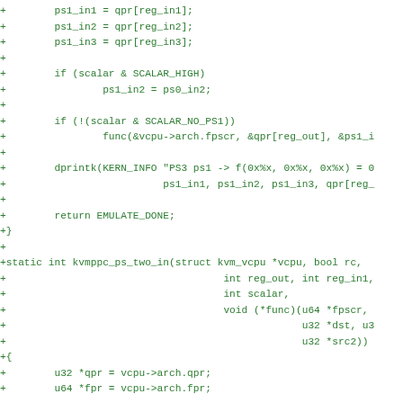+        ps1_in1 = qpr[reg_in1];
+        ps1_in2 = qpr[reg_in2];
+        ps1_in3 = qpr[reg_in3];
+
+        if (scalar & SCALAR_HIGH)
+                ps1_in2 = ps0_in2;
+
+        if (!(scalar & SCALAR_NO_PS1))
+                func(&vcpu->arch.fpscr, &qpr[reg_out], &ps1_i
+
+        dprintk(KERN_INFO "PS3 ps1 -> f(0x%x, 0x%x, 0x%x) = 0
+                          ps1_in1, ps1_in2, ps1_in3, qpr[reg_
+
+        return EMULATE_DONE;
+}
+
+static int kvmppc_ps_two_in(struct kvm_vcpu *vcpu, bool rc,
+                                    int reg_out, int reg_in1,
+                                    int scalar,
+                                    void (*func)(u64 *fpscr,
+                                                 u32 *dst, u3
+                                                 u32 *src2))
+{
+        u32 *qpr = vcpu->arch.qpr;
+        u64 *fpr = vcpu->arch.fpr;